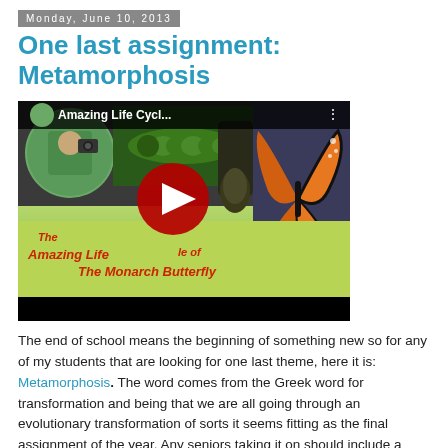Monday, June 10, 2013
One last assignment: Metamorphosis
[Figure (screenshot): YouTube video thumbnail for 'Amazing Life Cycle of The Monarch Butterfly' with red play button, showing caterpillar, chrysalis, and monarch butterfly images, with text 'The Amazing Life Cycle of The Monarch Butterfly'. Below is a black video progress bar.]
The end of school means the beginning of something new so for any of my students that are looking for one last theme, here it is: Metamorphosis.  The word comes from the Greek word for transformation and being that we are all going through an evolutionary transformation of sorts it seems fitting as the final assignment of the year.  Any seniors taking it on should include a short written reflection piece explaining